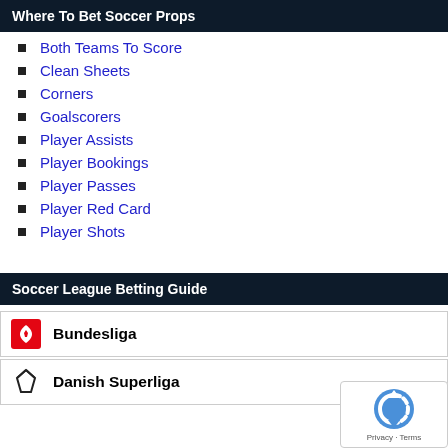Where To Bet Soccer Props
Both Teams To Score
Clean Sheets
Corners
Goalscorers
Player Assists
Player Bookings
Player Passes
Player Red Card
Player Shots
Soccer League Betting Guide
Bundesliga
Danish Superliga